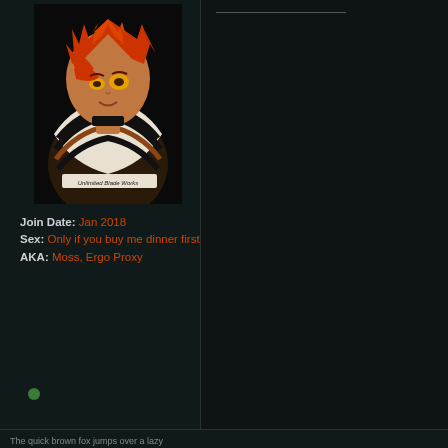[Figure (illustration): Anime character with orange/red spiky hair, orange eyes, wearing a striped black and white scarf/wrap. Text on image reads 'Unlimited Blade Works'.]
Join Date: Jan 2018
Sex: Only if you buy me dinner first
AKA: Moss, Ergo Proxy